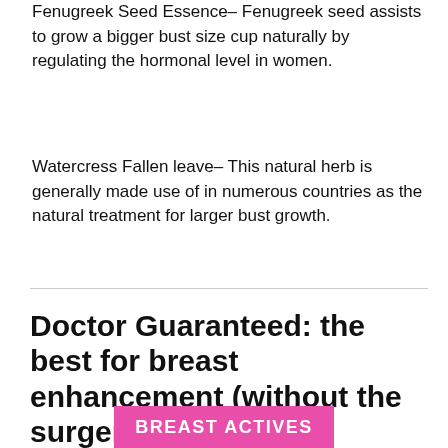Fenugreek Seed Essence– Fenugreek seed assists to grow a bigger bust size cup naturally by regulating the hormonal level in women.
Watercress Fallen leave– This natural herb is generally made use of in numerous countries as the natural treatment for larger bust growth.
Doctor Guaranteed: the best for breast enhancement (without the surgery!)
[Figure (illustration): Pink banner with white bold text reading BREAST ACTIVES]